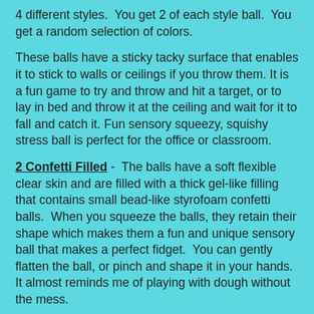4 different styles.  You get 2 of each style ball.  You get a random selection of colors.
These balls have a sticky tacky surface that enables it to stick to walls or ceilings if you throw them. It is a fun game to try and throw and hit a target, or to lay in bed and throw it at the ceiling and wait for it to fall and catch it. Fun sensory squeezy, squishy stress ball is perfect for the office or classroom.
2 Confetti Filled -  The balls have a soft flexible clear skin and are filled with a thick gel-like filling that contains small bead-like styrofoam confetti balls.  When you squeeze the balls, they retain their shape which makes them a fun and unique sensory ball that makes a perfect fidget.  You can gently flatten the ball, or pinch and shape it in your hands.  It almost reminds me of playing with dough without the mess.
2 Glow in Dark Foam Doh Filled  - This is very calming because it has a very silky soft feel, and it is filled with a thick soft almost fluffy doh that looks like frosting or